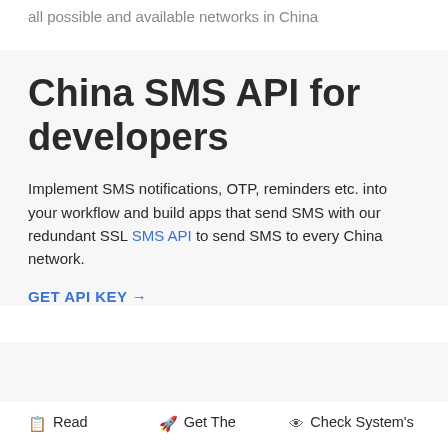all possible and available networks in China
China SMS API for developers
Implement SMS notifications, OTP, reminders etc. into your workflow and build apps that send SMS with our redundant SSL SMS API to send SMS to every China network.
GET API KEY →
📋 Read
🚀 Get The
👁 Check System's